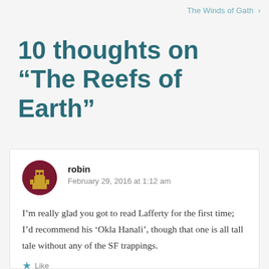The Winds of Gath >
10 thoughts on “The Reefs of Earth”
robin
February 29, 2016 at 1:12 am
I’m really glad you got to read Lafferty for the first time; I’d recommend his ‘Okla Hanali’, though that one is all tall tale without any of the SF trappings.
Like